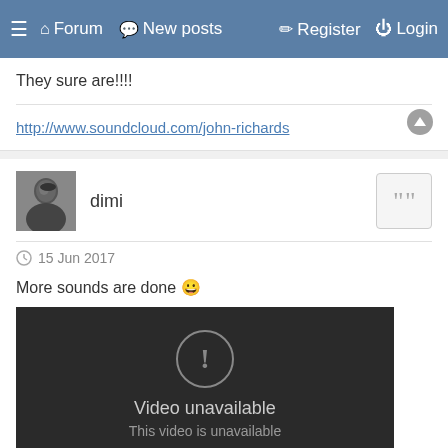☰ 🏠 Forum 💬 New posts ✏ Register ⏻ Login
They sure are!!!!
http://www.soundcloud.com/john-richards
dimi
15 Jun 2017
More sounds are done 😀
[Figure (screenshot): Embedded video player showing 'Video unavailable - This video is unavailable' error message on dark background]